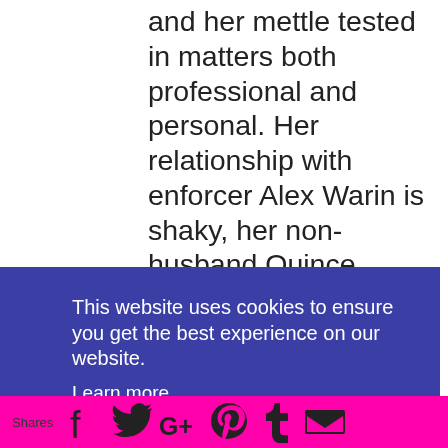and her mettle tested in matters both professional and personal. Her relationship with enforcer Alex Warin is shaky, her non-husband Quince Randolph is growing more powerful, and her best friend Eugenie has a bombshell that could blow everything to Elfheim and back.
This website uses cookies to ensure you get the best experience on our website.
Learn more
Got it!
Shares